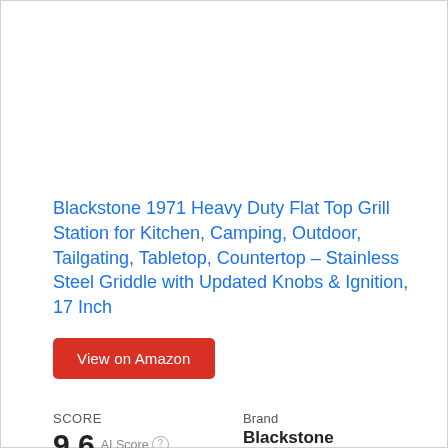Blackstone 1971 Heavy Duty Flat Top Grill Station for Kitchen, Camping, Outdoor, Tailgating, Tabletop, Countertop – Stainless Steel Griddle with Updated Knobs & Ignition, 17 Inch
View on Amazon
SCORE 9.6 AI Score   Brand Blackstone